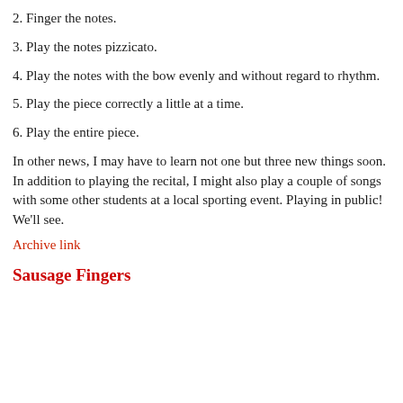2. Finger the notes.
3. Play the notes pizzicato.
4. Play the notes with the bow evenly and without regard to rhythm.
5. Play the piece correctly a little at a time.
6. Play the entire piece.
In other news, I may have to learn not one but three new things soon. In addition to playing the recital, I might also play a couple of songs with some other students at a local sporting event. Playing in public! We'll see.
Archive link
Sausage Fingers